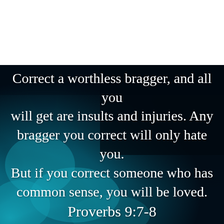[Figure (illustration): Dark teal/navy background with blue-teal smoke or ink swirling, primarily in the lower-left area. Upper-right is very dark navy, lower area features luminous teal blue cloud-like smoke formations.]
Correct a worthless bragger, and all you will get are insults and injuries. Any bragger you correct will only hate you. But if you correct someone who has common sense, you will be loved.
Proverbs 9:7-8